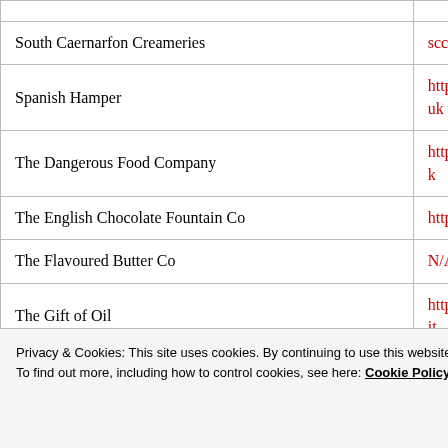|  |  |
| --- | --- |
| South Caernarfon Creameries | sccwales.co.uk |
| Spanish Hamper | http://www.thespa...uk |
| The Dangerous Food Company | http://www.dange...k |
| The English Chocolate Fountain Co | http://www.tecfc.c... |
| The Flavoured Butter Co | N/A |
| The Gift of Oil | http://www.thegif...it... |
| The Patchwork Traditional Food | http://www.patc...co... |
Privacy & Cookies: This site uses cookies. By continuing to use this website, you agree to their use.
To find out more, including how to control cookies, see here: Cookie Policy